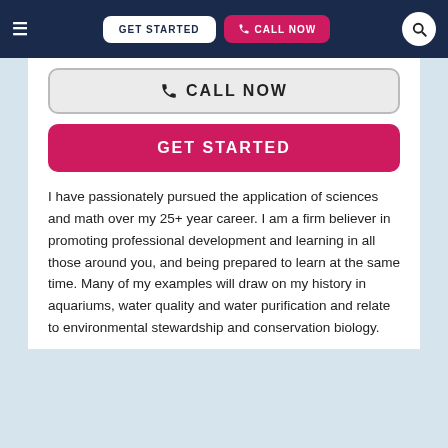GET STARTED  CALL NOW
[Figure (screenshot): Call Now button with phone icon, outlined style]
[Figure (screenshot): GET STARTED button, pink/crimson background, white text]
I have passionately pursued the application of sciences and math over my 25+ year career. I am a firm believer in promoting professional development and learning in all those around you, and being prepared to learn at the same time. Many of my examples will draw on my history in aquariums, water quality and water purification and relate to environmental stewardship and conservation biology.